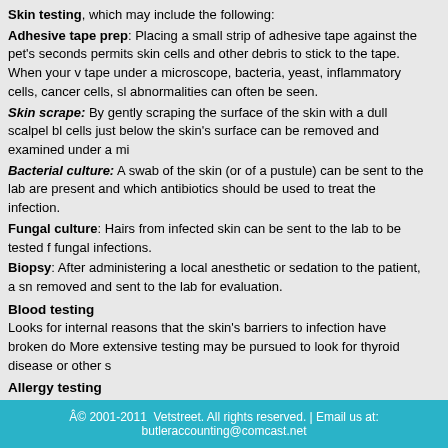Skin testing, which may include the following: Adhesive tape prep: Placing a small strip of adhesive tape against the pet's seconds permits skin cells and other debris to stick to the tape. When your v tape under a microscope, bacteria, yeast, inflammatory cells, cancer cells, sh abnormalities can often be seen. Skin scrape: By gently scraping the surface of the skin with a dull scalpel bl cells just below the skin's surface can be removed and examined under a mi Bacterial culture: A swab of the skin (or of a pustule) can be sent to the lab are present and which antibiotics should be used to treat the infection. Fungal culture: Hairs from infected skin can be sent to the lab to be tested f fungal infections. Biopsy: After administering a local anesthetic or sedation to the patient, a sn removed and sent to the lab for evaluation.
Blood testing
Looks for internal reasons that the skin's barriers to infection have broken do More extensive testing may be pursued to look for thyroid disease or other s
Allergy testing
Determines if an allergy exists and whether specific treatment for the allergy
How Is Malassezia Dermatitis Treated?
It is very important to find the underlying cause of MD in order to keep the ye be difficult especially when the primary condition is resistant to treatment. An used to help decrease the numbers of Malassezia organisms on the skin ano orally (as pills), topically (as an ointment or cream), or as a shampoo that yo the underlying cause for the MD involves a bacterial skin infection, parasites allergies, these conditions must be specifically addressed to prevent recurren primary condition is resolved, MD can be prevented from coming back.
© 2001-2011 Vetstreet. All rights reserved. | Email us at: butleraccounting@comcast.net